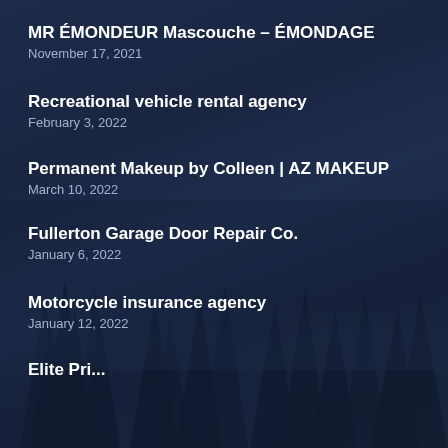MR ÉMONDEUR Mascouche – ÉMONDAGE
November 17, 2021
Recreational vehicle rental agency
February 3, 2022
Permanent Makeup by Colleen | AZ MAKEUP
March 10, 2022
Fullerton Garage Door Repair Co.
January 6, 2022
Motorcycle insurance agency
January 12, 2022
Elite Pri...